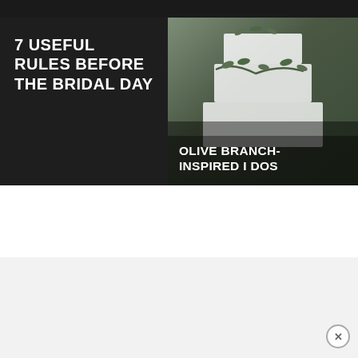[Figure (illustration): Dark top navigation bar strip]
7 USEFUL RULES BEFORE THE BRIDAL DAY
[Figure (photo): Wedding cake decorated with olive branches on a dark background overlay with text 'OLIVE BRANCH-INSPIRED I DOS']
[Figure (logo): Top Wedding logo with a pink heart replacing the 'O' in TOP and cursive 'Wedding' text below]